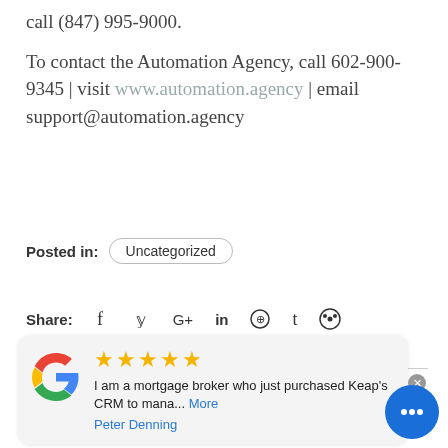call (847) 995-9000.
To contact the Automation Agency, call 602-900-9345 | visit www.automation.agency | email support@automation.agency
Posted in: Uncategorized
Share: f y G+ in ⊕ t ⊙
[Figure (other): Google review card with 5 stars, review text 'I am a mortgage broker who just purchased Keap's CRM to mana... More', reviewer name 'Peter Denning', and Google logo]